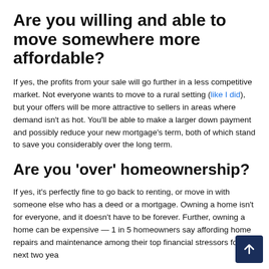Are you willing and able to move somewhere more affordable?
If yes, the profits from your sale will go further in a less competitive market. Not everyone wants to move to a rural setting (like I did), but your offers will be more attractive to sellers in areas where demand isn't as hot. You'll be able to make a larger down payment and possibly reduce your new mortgage's term, both of which stand to save you considerably over the long term.
Are you 'over' homeownership?
If yes, it's perfectly fine to go back to renting, or move in with someone else who has a deed or a mortgage. Owning a home isn't for everyone, and it doesn't have to be forever. Further, owning a home can be expensive — 1 in 5 homeowners say affording home repairs and maintenance among their top financial stressors for the next two years